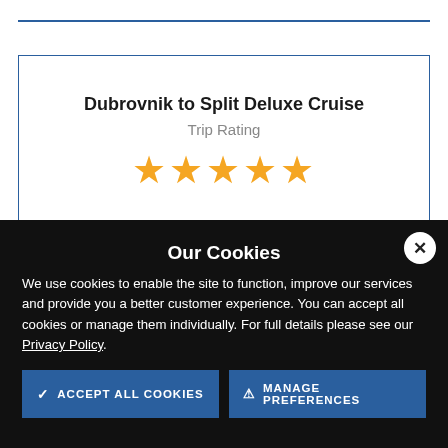Dubrovnik to Split Deluxe Cruise
Trip Rating
[Figure (other): Five gold star rating icons]
Our Cookies
We use cookies to enable the site to function, improve our services and provide you a better customer experience. You can accept all cookies or manage them individually. For full details please see our Privacy Policy.
ACCEPT ALL COOKIES
MANAGE PREFERENCES